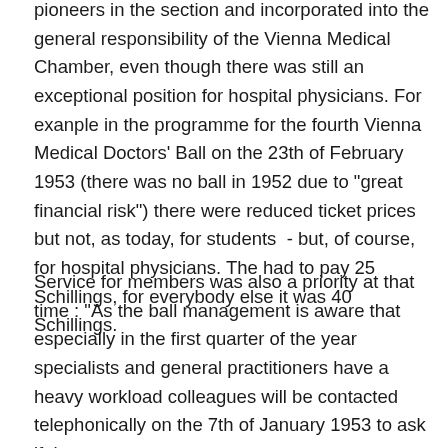pioneers in the section and incorporated into the general responsibility of the Vienna Medical Chamber, even though there was still an exceptional position for hospital physicians. For exanple in the programme for the fourth Vienna Medical Doctors' Ball on the 23th of February 1953 (there was no ball in 1952 due to "great financial risk") there were reduced ticket prices but not, as today, for students  - but, of course, for hospital physicians. The had to pay 25 Schillings, for everybody else it was 40 Schillings.
Service for members was also a priority at that time : "As the ball management is aware that especially in the first quarter of the year specialists and general practitioners have a heavy workload colleagues will be contacted telephonically on the 7th of January 1953 to ask if they